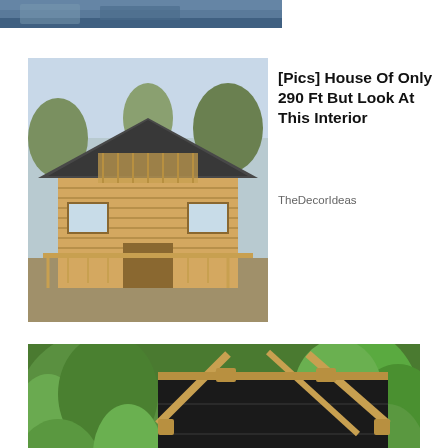[Figure (photo): Partial top strip of a photo showing dark blue/grey tones, cropped]
[Figure (photo): Thumbnail of a small wooden log cabin house with grey roof and porch]
[Pics] House Of Only 290 Ft But Look At This Interior
TheDecorIdeas
[Figure (photo): Large photo of a dark tarpaulin-covered shed/small building structure under construction, surrounded by green trees and foliage]
Privacy & Cookies: This site uses cookies. By continuing to use this website, you agree to their use.
To find out more, including how to control cookies, see here: Cookie Policy
Close and accept